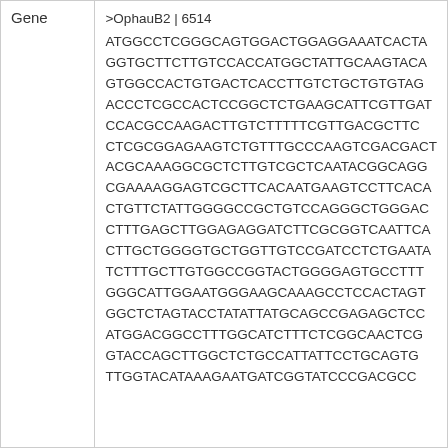| Gene | Sequence |
| --- | --- |
| Gene | >OphauB2 | 6514
ATGGCCTCGGGCAGTGGACTGGAGGAAATCACTA
GGTGCTTCTTGTCCACCATGGCTATTGCAAGTAC
GTGGCCACTGTGACTCACCTTGTCTGCTGTGTAG
ACCCTCGCCACTCCGGCTCTGAAGCATTCGTTGAT
CCACGCCAAGACTTGTCTTTTTCGTTGACGCTTC
CTCGCGGAGAAGTCTGTTTGCCCAAGTCGACGACT
ACGCAAAGGCGCTCTTGTCGCTCAATACGGCAGG
CGAAAAGGAGTCGCTTCACAATGAAGTCCTTCACA
CTGTTCTATTGGGGCCGCTGTCCAGGGCTGGGAC
CTTTGAGCTTGGAGAGGATCTTCGCGGTCAATTCA
CTTGCTGGGGTGCTGGTTGTCCGATCCTCTGAATA
TCTTTGCTTGTGGCCGGTACTGGGGAGTGCCTTT
GGGCATTGGAATGGGAAGCAAAGCCTCCACTAGT
GGCTCTAGTACCTATATATGCAGCCGAGAGCTCC
ATGGACGGCCTTTGGCATCTTTCTCGGCAACTCG
GTACCAGCTTGGCTCTGCCATTATTCCTGCAGTG
TTGGTACATAAAGAATGATCGGTATCCCGACGCC |